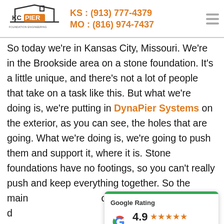[Figure (logo): KC Pier foundation repair logo with house outline]
KS : (913) 777-4379
MO : (816) 974-7437
So today we're in Kansas City, Missouri. We're in the Brookside area on a stone foundation. It's a little unique, and there's not a lot of people that take on a task like this. But what we're doing is, we're putting in DynaPier Systems on the exterior, as you can see, the holes that are going. What we're doing is, we're going to push them and support it, where it is. Stone foundations have no footings, so you can't really push and keep everything together. So the main [goal is to stop] moving, so they can [do their thing and] get everything taken care of so they don't have to
[Figure (infographic): Google Rating widget showing 4.9 stars based on 128 reviews]